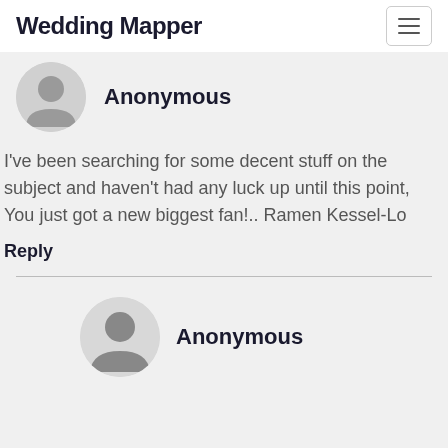Wedding Mapper
[Figure (illustration): Anonymous user avatar icon (partially visible at top) with grey circular background]
Anonymous
I've been searching for some decent stuff on the subject and haven't had any luck up until this point, You just got a new biggest fan!.. Ramen Kessel-Lo
Reply
[Figure (illustration): Anonymous user avatar icon with grey circular background]
Anonymous